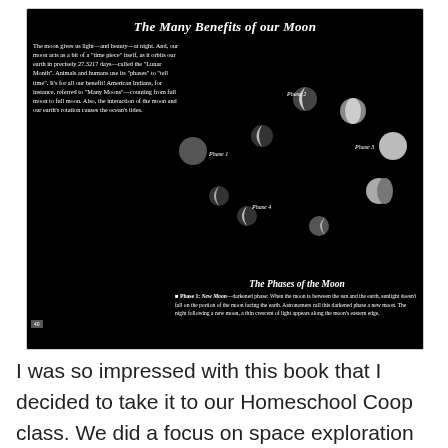[Figure (infographic): A black-background slide titled 'The Many Benefits of our Moon' showing moon phases in an arc, left-side descriptive text about the moon, and right-side section 'The Phases of the Moon' with Phase 1 description about New Moon.]
I was so impressed with this book that I decided to take it to our Homeschool Coop class. We did a focus on space exploration and